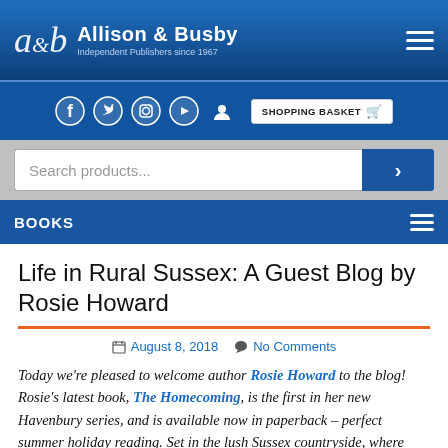Allison & Busby — Independent Publishers since 1967
[Figure (screenshot): Social media icons: Facebook, Twitter, Instagram, YouTube, User profile, and Shopping Basket button]
[Figure (screenshot): Search bar with placeholder 'Search products...' and blue search button with right arrow]
BOOKS (navigation bar with hamburger menu)
Life in Rural Sussex: A Guest Blog by Rosie Howard
August 8, 2018   No Comments
Today we're pleased to welcome author Rosie Howard to the blog! Rosie's latest book, The Homecoming, is the first in her new Havenbury series, and is available now in paperback – perfect summer holiday reading. Set in the lush Sussex countryside, where